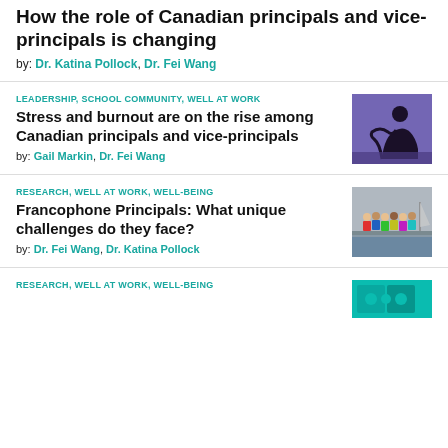How the role of Canadian principals and vice-principals is changing
by: Dr. Katina Pollock, Dr. Fei Wang
LEADERSHIP, SCHOOL COMMUNITY, WELL AT WORK
Stress and burnout are on the rise among Canadian principals and vice-principals
by: Gail Markin, Dr. Fei Wang
[Figure (photo): Silhouette of a person hunched over in stress against a purple/blue background]
RESEARCH, WELL AT WORK, WELL-BEING
Francophone Principals: What unique challenges do they face?
by: Dr. Fei Wang, Dr. Katina Pollock
[Figure (photo): Group of colorfully dressed people standing on a dock or waterfront]
RESEARCH, WELL AT WORK, WELL-BEING
[Figure (photo): Partial image of puzzle pieces on teal/turquoise background]